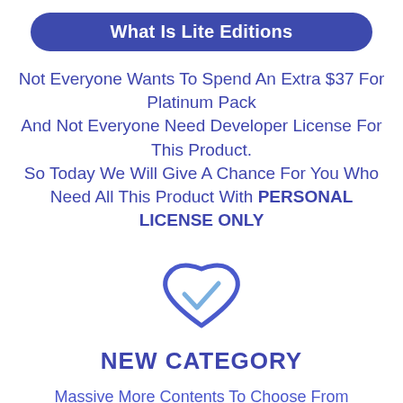What Is Lite Editions
Not Everyone Wants To Spend An Extra $37 For Platinum Pack
And Not Everyone Need Developer License For This Product.
So Today We Will Give A Chance For You Who Need All This Product With PERSONAL LICENSE ONLY
[Figure (illustration): A heart-shaped checkmark icon outlined in blue]
NEW CATEGORY
Massive More Contents To Choose From